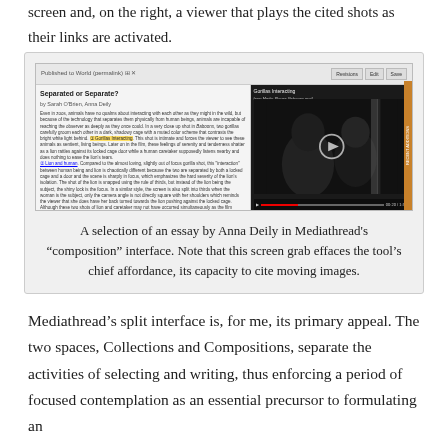screen and, on the right, a viewer that plays the cited shots as their links are activated.
[Figure (screenshot): Screenshot of Mediathread's composition interface showing an essay by Anna Deily titled 'Separated or Separate?' with a video player on the right showing gorillas.]
A selection of an essay by Anna Deily in Mediathread's “composition” interface. Note that this screen grab effaces the tool’s chief affordance, its capacity to cite moving images.
Mediathread’s split interface is, for me, its primary appeal. The two spaces, Collections and Compositions, separate the activities of selecting and writing, thus enforcing a period of focused contemplation as an essential precursor to formulating an